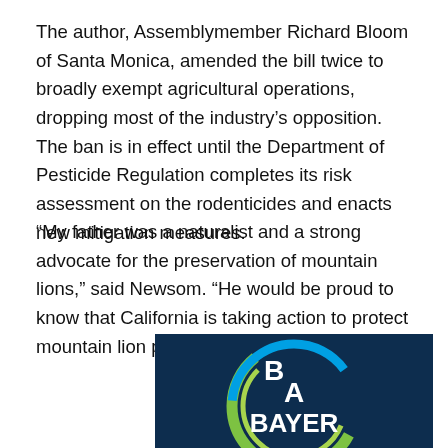The author, Assemblymember Richard Bloom of Santa Monica, amended the bill twice to broadly exempt agricultural operations, dropping most of the industry's opposition. The ban is in effect until the Department of Pesticide Regulation completes its risk assessment on the rodenticides and enacts new mitigation measures.
“My father was a naturalist and a strong advocate for the preservation of mountain lions,” said Newsom. “He would be proud to know that California is taking action to protect mountain lion populations.”
[Figure (logo): Bayer company logo: dark navy blue background with a green and blue circular ring and white letters spelling B A BAYER]